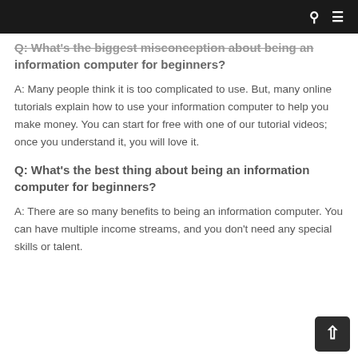Q: What's the biggest misconception about being an information computer for beginners?
A: Many people think it is too complicated to use. But, many online tutorials explain how to use your information computer to help you make money. You can start for free with one of our tutorial videos; once you understand it, you will love it.
Q: What's the best thing about being an information computer for beginners?
A: There are so many benefits to being an information computer. You can have multiple income streams, and you don't need any special skills or talent.